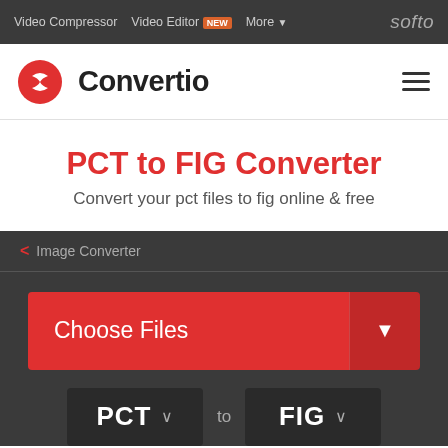Video Compressor  Video Editor NEW  More  softo
[Figure (logo): Convertio logo with red circular icon and bold text]
PCT to FIG Converter
Convert your pct files to fig online & free
< Image Converter
Choose Files
PCT  to  FIG